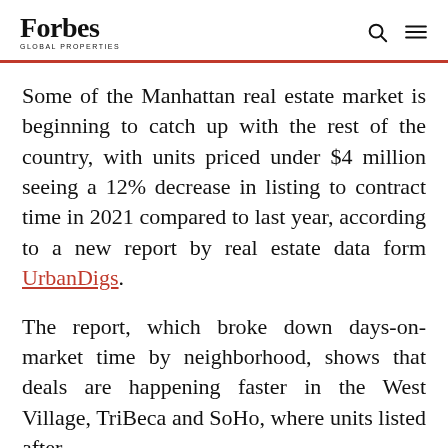Forbes Global Properties
Some of the Manhattan real estate market is beginning to catch up with the rest of the country, with units priced under $4 million seeing a 12% decrease in listing to contract time in 2021 compared to last year, according to a new report by real estate data form UrbanDigs.
The report, which broke down days-on-market time by neighborhood, shows that deals are happening faster in the West Village, TriBeca and SoHo, where units listed after